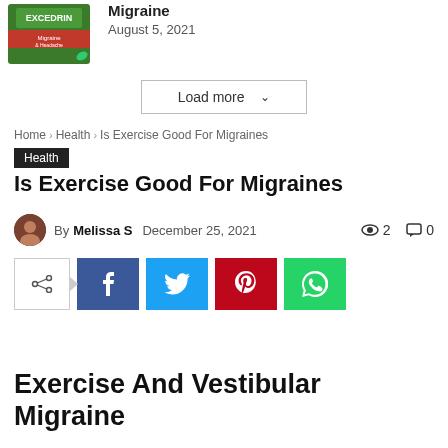[Figure (photo): Excedrin Migraine & Headache product box, green packaging with red label]
Migraine
August 5, 2021
Load more ˅
Home › Health › Is Exercise Good For Migraines
Health
Is Exercise Good For Migraines
By Melissa S   December 25, 2021   👁 2   💬 0
[Figure (infographic): Social share buttons: share icon box, Facebook, Twitter, Pinterest, WhatsApp]
Exercise And Vestibular Migraine